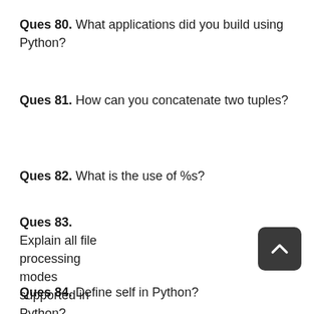Ques 80. What applications did you build using Python?
Ques 81. How can you concatenate two tuples?
Ques 82. What is the use of %s?
Ques 83. Explain all file processing modes supported in Python?
Ques 84. Define self in Python?